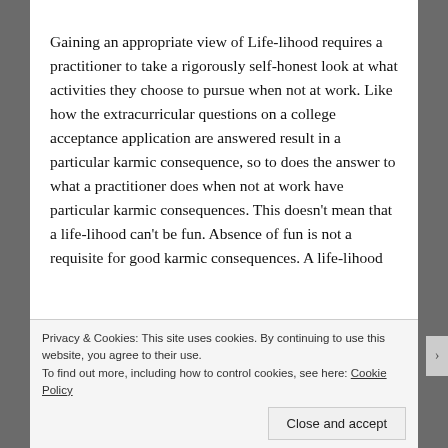Gaining an appropriate view of Life-lihood requires a practitioner to take a rigorously self-honest look at what activities they choose to pursue when not at work. Like how the extracurricular questions on a college acceptance application are answered result in a particular karmic consequence, so to does the answer to what a practitioner does when not at work have particular karmic consequences. This doesn't mean that a life-lihood can't be fun. Absence of fun is not a requisite for good karmic consequences. A life-lihood
Privacy & Cookies: This site uses cookies. By continuing to use this website, you agree to their use.
To find out more, including how to control cookies, see here: Cookie Policy
Close and accept